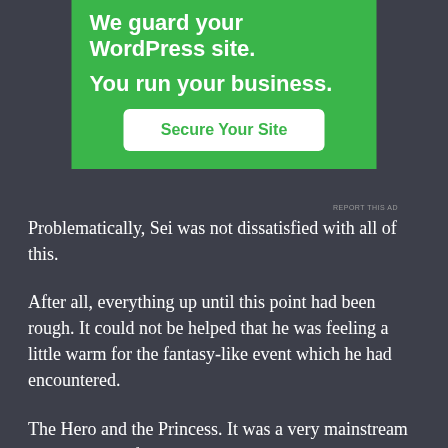[Figure (infographic): Green advertisement banner for WordPress site security service with headline text 'We guard your WordPress site. You run your business.' and a white 'Secure Your Site' button]
REPORT THIS AD
Problematically, Sei was not dissatisfied with all of this.
After all, everything up until this point had been rough. It could not be helped that he was feeling a little warm for the fantasy-like event which he had encountered.
The Hero and the Princess. It was a very mainstream storyline used from ancient times